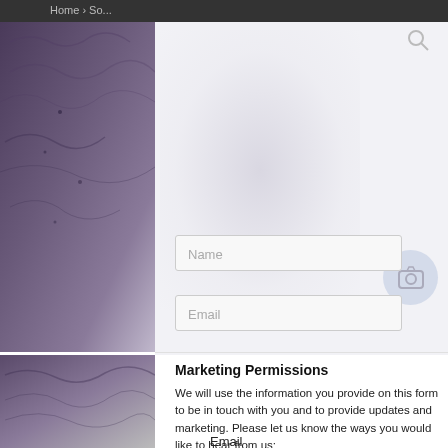Home > So...
[Figure (photo): Purple/dark knitted textile item — main product photo on left side]
[Figure (photo): Purple/dark knitted textile item — thumbnail on lower left]
Marketing Permissions
We will use the information you provide on this form to be in touch with you and to provide updates and marketing. Please let us know the ways you would like to hear from us:
Email
We will send you occasional emails about promotions, products and important updates to keep you in the lo...